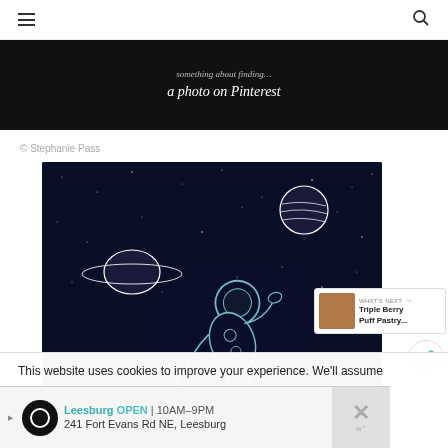Navigation header with hamburger menu and search icon
[Figure (screenshot): Dark black banner with white italic text: 'a photo on Pinterest' and partially visible text above]
© Stephanie Pass
[Figure (illustration): Dark space scene illustration showing an astronaut floating in space with Saturn-like planet, a striped planet, and stars on a dark blue-black background, white line art style]
This website uses cookies to improve your experience. We'll assume
[Figure (screenshot): Advertisement for Leesburg store: 'Leesburg OPEN | 10AM-9PM 241 Fort Evans Rd NE, Leesburg' with navigation arrow icon and close button]